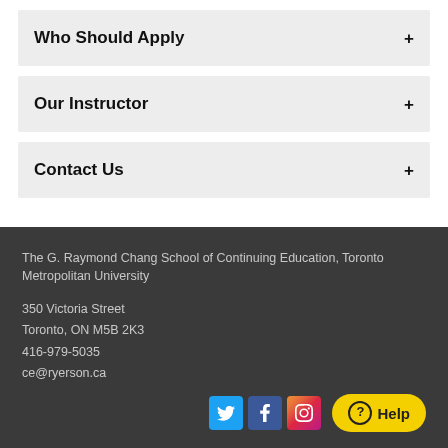Who Should Apply
Our Instructor
Contact Us
The G. Raymond Chang School of Continuing Education, Toronto Metropolitan University

350 Victoria Street
Toronto, ON M5B 2K3
416-979-5035
ce@ryerson.ca